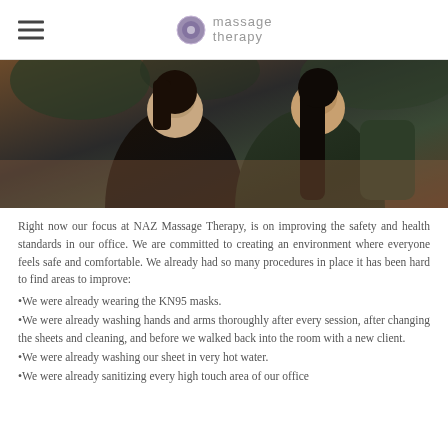massage therapy
[Figure (photo): Two women standing together outdoors, both wearing dark tops, smiling at the camera. Background shows trees and outdoor setting.]
Right now our focus at NAZ Massage Therapy, is on improving the safety and health standards in our office. We are committed to creating an environment where everyone feels safe and comfortable. We already had so many procedures in place it has been hard to find areas to improve:
•We were already wearing the KN95 masks.
•We were already washing hands and arms thoroughly after every session, after changing the sheets and cleaning, and before we walked back into the room with a new client.
•We were already washing our sheet in very hot water.
•We were already sanitizing every high touch area of our office